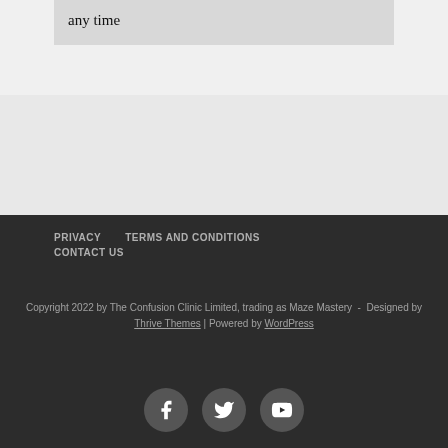any time
PRIVACY   TERMS AND CONDITIONS   CONTACT US
Copyright 2022 by The Confusion Clinic Limited, trading as Maze Mastery  -  Designed by Thrive Themes | Powered by WordPress
[Figure (illustration): Three circular social media icons: Facebook, Twitter, YouTube]